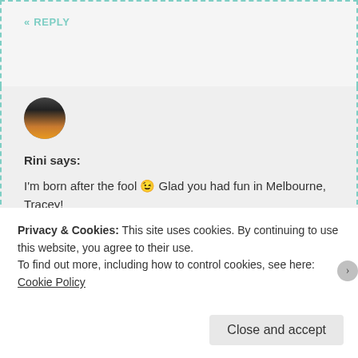« REPLY
Rini says:
I'm born after the fool 😉 Glad you had fun in Melbourne, Tracey!
★ Liked by 1 person
April 20, 2017 at 2:32 am
Privacy & Cookies: This site uses cookies. By continuing to use this website, you agree to their use.
To find out more, including how to control cookies, see here: Cookie Policy
Close and accept